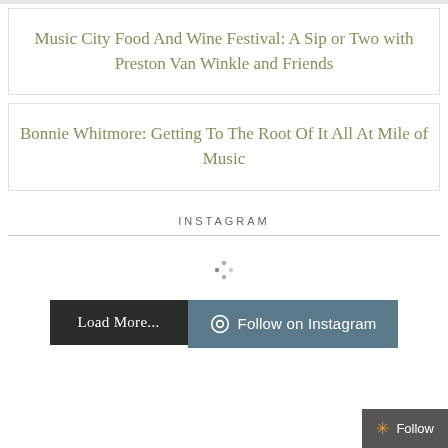Music City Food And Wine Festival: A Sip or Two with Preston Van Winkle and Friends
Bonnie Whitmore: Getting To The Root Of It All At Mile of Music
INSTAGRAM
[Figure (other): Loading spinner icon (four-pointed sparkle/asterisk shape)]
Load More...
Follow on Instagram
Follow